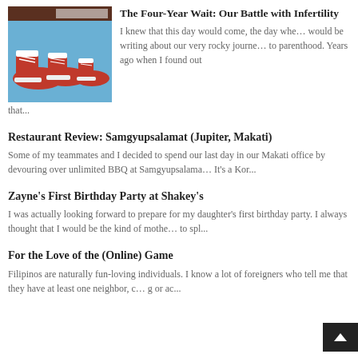[Figure (photo): Photo of red Converse sneakers in multiple sizes arranged on a blue background]
The Four-Year Wait: Our Battle with Infertility
I knew that this day would come, the day when I would be writing about our very rocky journey to parenthood. Years ago when I found out that...
Restaurant Review: Samgyupsalamat (Jupiter, Makati)
Some of my teammates and I decided to spend our last day in our Makati office by devouring over unlimited BBQ at Samgyupsalamat. It's a Kor...
Zayne's First Birthday Party at Shakey's
I was actually looking forward to prepare for my daughter's first birthday party. I always thought that I would be the kind of mother to spl...
For the Love of the (Online) Game
Filipinos are naturally fun-loving individuals. I know a lot of foreigners who tell me that they have at least one neighbor, c... g or ac...